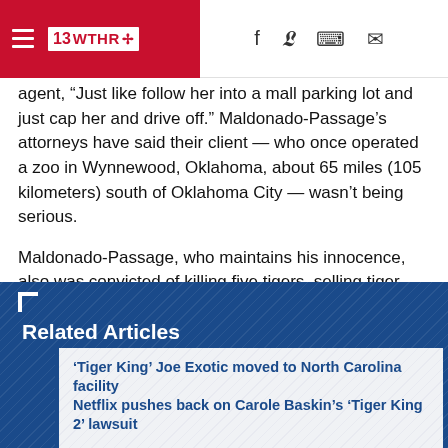13 WTHR
agent, “Just like follow her into a mall parking lot and just cap her and drive off.” Maldonado-Passage’s attorneys have said their client — who once operated a zoo in Wynnewood, Oklahoma, about 65 miles (105 kilometers) south of Oklahoma City — wasn’t being serious.
Maldonado-Passage, who maintains his innocence, also was convicted of killing five tigers, selling tiger cubs and falsifying wildlife records.
Related Articles
‘Tiger King’ Joe Exotic moved to North Carolina facility
Netflix pushes back on Carole Baskin’s ‘Tiger King 2’ lawsuit